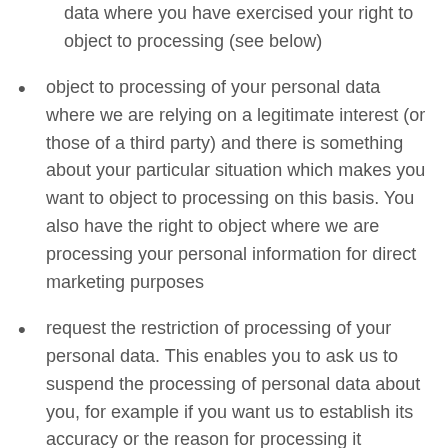data where you have exercised your right to object to processing (see below)
object to processing of your personal data where we are relying on a legitimate interest (or those of a third party) and there is something about your particular situation which makes you want to object to processing on this basis. You also have the right to object where we are processing your personal information for direct marketing purposes
request the restriction of processing of your personal data. This enables you to ask us to suspend the processing of personal data about you, for example if you want us to establish its accuracy or the reason for processing it
request the transfer of your personal data to you or another data controller if the processing is